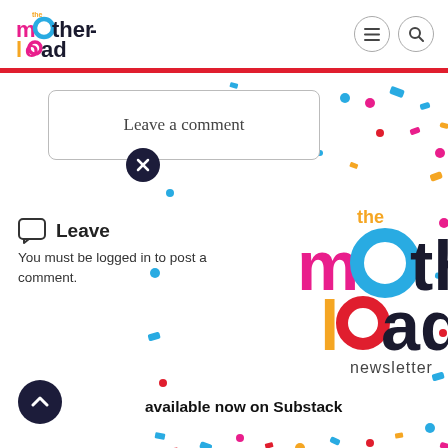[Figure (logo): The Motherload logo in top-left header with colorful letters]
[Figure (screenshot): Leave a comment input box with rounded border]
Leave a comment
[Figure (illustration): Close/X button dark circle with X mark]
[Figure (illustration): Colorful confetti dots scattered across lower portion of page]
[Figure (illustration): Speech bubble icon]
Leave
You must be logged in to post a comment.
[Figure (logo): The Motherload newsletter large colorful logo with 'the motherload newsletter' text]
available now on Substack
[Figure (illustration): Back to top arrow button dark circle]